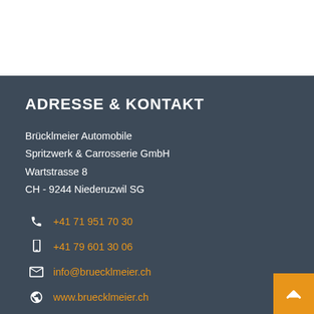ADRESSE & KONTAKT
Brücklmeier Automobile
Spritzwerk & Carrosserie GmbH
Wartstrasse 8
CH - 9244 Niederuzwil SG
+41 71 951 70 30
+41 79 601 30 06
info@bruecklmeier.ch
www.bruecklmeier.ch